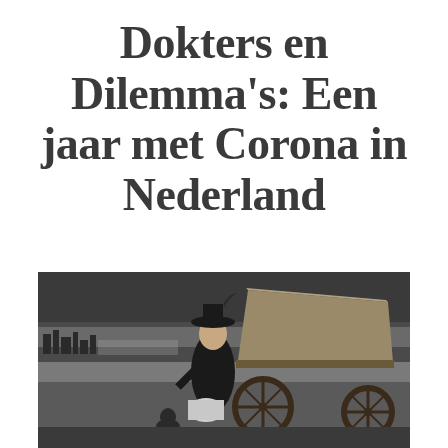Dokters en Dilemma's: Een jaar met Corona in Nederland
[Figure (illustration): Black and white historical engraving or painting depicting a dark, moody outdoor scene. A figure dressed in dark clothing with a feathered hat stands near a large wooden cart or wagon. Another smaller figure is visible near the ground. The background shows a dark sky and distant buildings or structures on the horizon.]